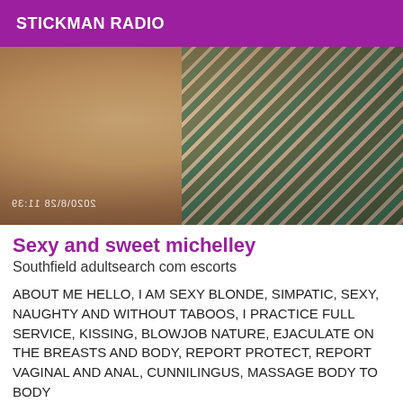STICKMAN RADIO
[Figure (photo): Close-up photo of a person with tropical leaf print fabric/bedding, timestamp visible bottom left reading 2020\8\28 11:39]
Sexy and sweet michelley
Southfield adultsearch com escorts
ABOUT ME HELLO, I AM SEXY BLONDE, SIMPATIC, SEXY, NAUGHTY AND WITHOUT TABOOS, I PRACTICE FULL SERVICE, KISSING, BLOWJOB NATURE, EJACULATE ON THE BREASTS AND BODY, REPORT PROTECT, REPORT VAGINAL AND ANAL, CUNNILINGUS, MASSAGE BODY TO BODY